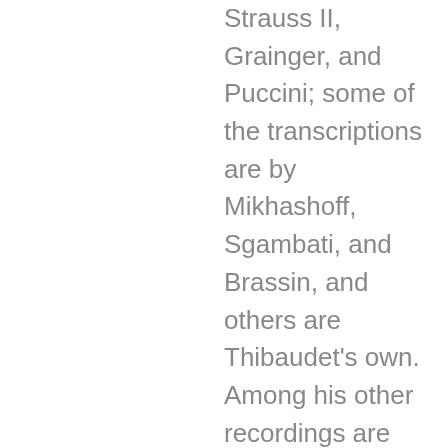Strauss II, Grainger, and Puccini; some of the transcriptions are by Mikhashoff, Sgambati, and Brassin, and others are Thibaudet's own. Among his other recordings are Satie: The Complete Solo Piano Music and the jazz albums Reflections on Duke: Jean-Yves Thibaudet Plays the Music of Duke Ellington and Conversations With Bill Evans, his tribute